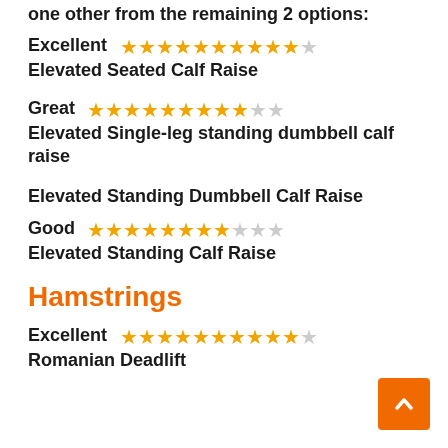one other from the remaining 2 options:
Excellent ★★★★★★★★★★☆ Elevated Seated Calf Raise
Great ★★★★★★★★★☆☆ Elevated Single-leg standing dumbbell calf raise
Elevated Standing Dumbbell Calf Raise
Good ★★★★★★★★☆☆☆ Elevated Standing Calf Raise
Hamstrings
Excellent ★★★★★★★★★★☆ Romanian Deadlift